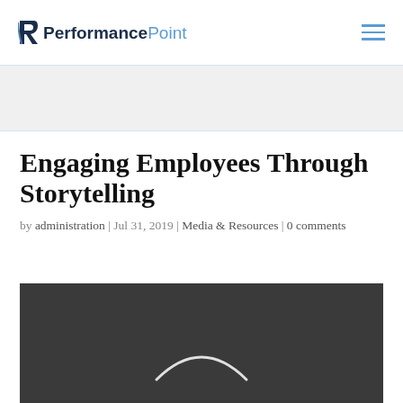PerformancePoint
Engaging Employees Through Storytelling
by administration | Jul 31, 2019 | Media & Resources | 0 comments
[Figure (photo): Dark gray image with a smile/arc shape outline at the bottom center — decorative article header image]